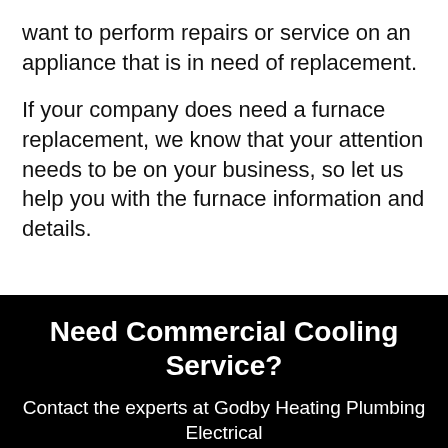want to perform repairs or service on an appliance that is in need of replacement.
If your company does need a furnace replacement, we know that your attention needs to be on your business, so let us help you with the furnace information and details.
Need Commercial Cooling Service?
Contact the experts at Godby Heating Plumbing Electrical